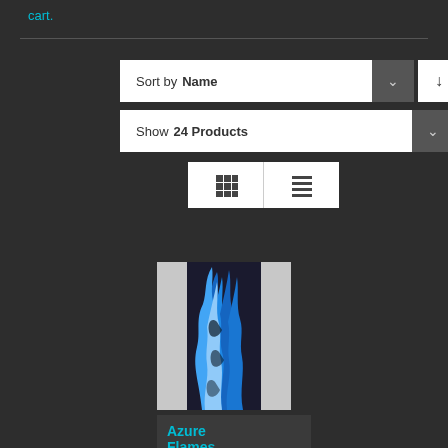cart.
[Figure (screenshot): Sort by Name dropdown with chevron and down-arrow button]
[Figure (screenshot): Show 24 Products dropdown]
[Figure (screenshot): Grid and list view toggle buttons]
[Figure (photo): Product image showing blue flames pattern on dark background - Azure Flames product]
Azure Flames